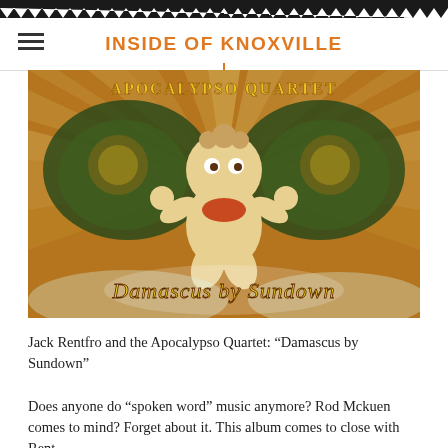INSIDE OF KNOXVILLE
[Figure (illustration): Album cover for 'Damascus by Sundown' by Apocalypso Quartet. Features a surreal baby doll figure with wings against a sunburst background with smoke effects. Text reads 'APOCALYPSO QUARTET' at top and 'Damascus by Sundown' at bottom in ornate lettering.]
Jack Rentfro and the Apocalypso Quartet: “Damascus by Sundown”
Does anyone do “spoken word” music anymore? Rod Mckuen comes to mind? Forget about it. This album comes to close with Rent